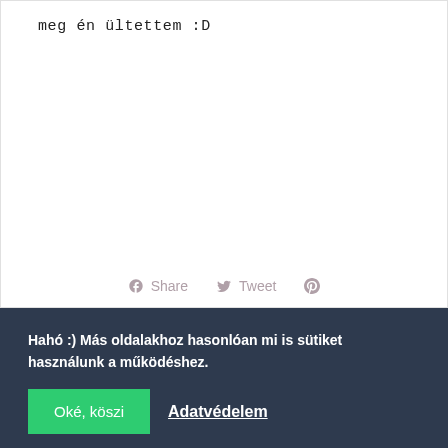meg én ültettem :D
Share  Tweet  [Pinterest]
Hahó :) Más oldalakhoz hasonlóan mi is sütiket használunk a működéshez.
Oké, köszi   Adatvédelem